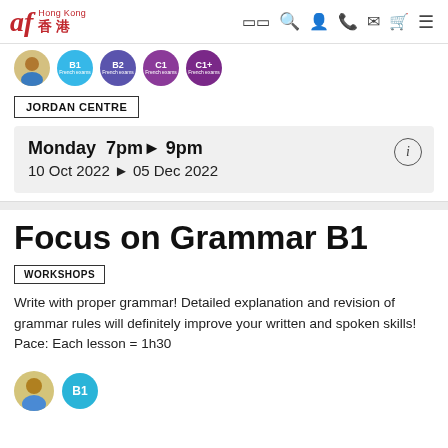af Hong Kong 香港
[Figure (illustration): Partially visible level circles: person avatar, B1 (blue), B2 (purple), C1 (dark purple), C1+ (dark purple) with 'French exams' labels]
JORDAN CENTRE
Monday  7pm▶ 9pm
10 Oct 2022 ▶ 05 Dec 2022
Focus on Grammar B1
WORKSHOPS
Write with proper grammar! Detailed explanation and revision of grammar rules will definitely improve your written and spoken skills!
Pace: Each lesson = 1h30
[Figure (illustration): Person avatar circle and B1 level badge circle (teal/blue)]